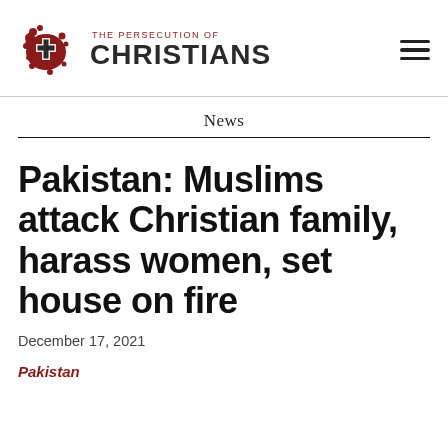THE PERSECUTION OF CHRISTIANS
News
Pakistan: Muslims attack Christian family, harass women, set house on fire
December 17, 2021
Pakistan